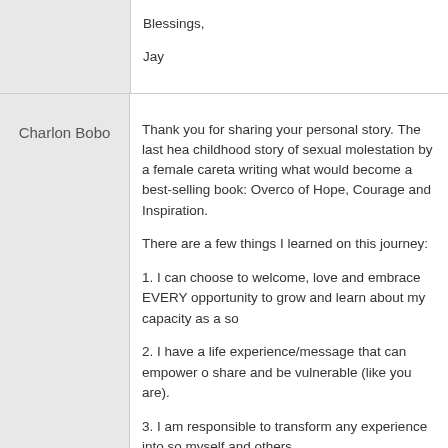Blessings,
Jay
Charlon Bobo
Thank you for sharing your personal story. The last hea childhood story of sexual molestation by a female careta writing what would become a best-selling book: Overco of Hope, Courage and Inspiration.

There are a few things I learned on this journey:
1. I can choose to welcome, love and embrace EVERY opportunity to grow and learn about my capacity as a so
2. I have a life experience/message that can empower o share and be vulnerable (like you are).
3. I am responsible to transform any experience into so myself and others.
4. I am not a victim, nor am I a survivor or thriver. Labels constrained and defined by the experience. I must decid
5. I give myself permission to be truly free to determine n